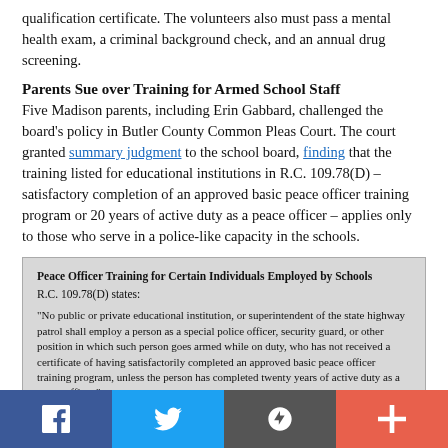qualification certificate. The volunteers also must pass a mental health exam, a criminal background check, and an annual drug screening.
Parents Sue over Training for Armed School Staff
Five Madison parents, including Erin Gabbard, challenged the board's policy in Butler County Common Pleas Court. The court granted summary judgment to the school board, finding that the training listed for educational institutions in R.C. 109.78(D) – satisfactory completion of an approved basic peace officer training program or 20 years of active duty as a peace officer – applies only to those who serve in a police-like capacity in the schools.
| Peace Officer Training for Certain Individuals Employed by Schools |
| R.C. 109.78(D) states: |
| “No public or private educational institution, or superintendent of the state highway patrol shall employ a person as a special police officer, security guard, or other position in which such person goes armed while on duty, who has not received a certificate of having satisfactorily completed an approved basic peace officer training program, unless the person has completed twenty years of active duty as a peace officer.” |
The parents appealed to the Twelfth District Court of Appeals, which reversed the trial court's summary judgment. The appellate court determined that school staff authorized to carry weapons…